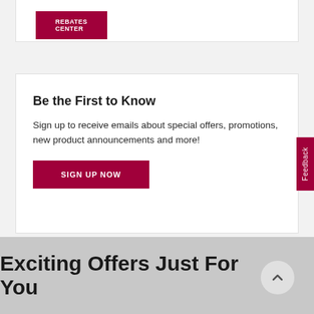[Figure (screenshot): Partial view of a rebates center button (dark red/crimson) with white text partially visible reading 'REBATES CENTER' at the top of the page inside a white card.]
Be the First to Know
Sign up to receive emails about special offers, promotions, new product announcements and more!
SIGN UP NOW
Exciting Offers Just For You